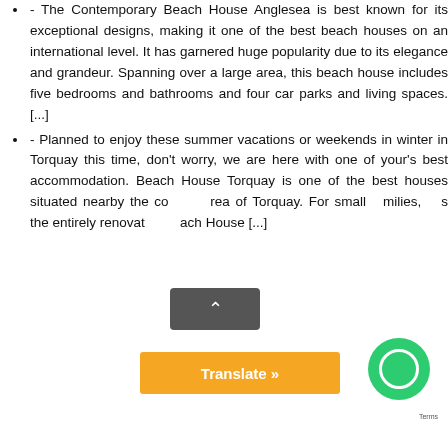- The Contemporary Beach House Anglesea is best known for its exceptional designs, making it one of the best beach houses on an international level. It has garnered huge popularity due to its elegance and grandeur. Spanning over a large area, this beach house includes five bedrooms and bathrooms and four car parks and living spaces. [...]
- Planned to enjoy these summer vacations or weekends in winter in Torquay this time, don't worry, we are here with one of your's best accommodation. Beach House Torquay is one of the best houses situated nearby the coastal area of Torquay. For small families, this is the entirely renovated Beach House [...]